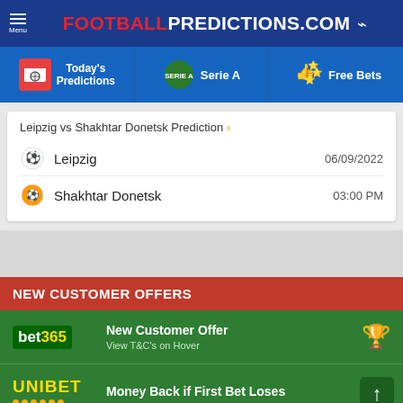FOOTBALLPREDICTIONS.COM
Today's Predictions | Serie A | Free Bets
Leipzig vs Shakhtar Donetsk Prediction > Leipzig 06/09/2022 Shakhtar Donetsk 03:00 PM
NEW CUSTOMER OFFERS
bet365 New Customer Offer View T&C's on Hover
UNIBET Money Back if First Bet Loses